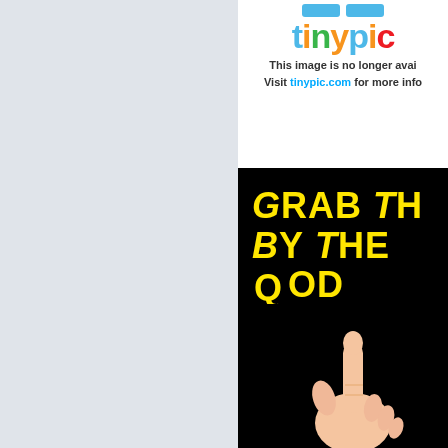[Figure (other): Left side light gray panel, empty]
[Figure (screenshot): Tinypic image placeholder showing logo with colored text 'tinypic', two blue bars above, and text: 'This image is no longer avai... Visit tinypic.com for more info']
[Figure (photo): Black background image with yellow bold italic text 'GRAB TH... BY THE... ROD' and a hand with pointing finger below the text]